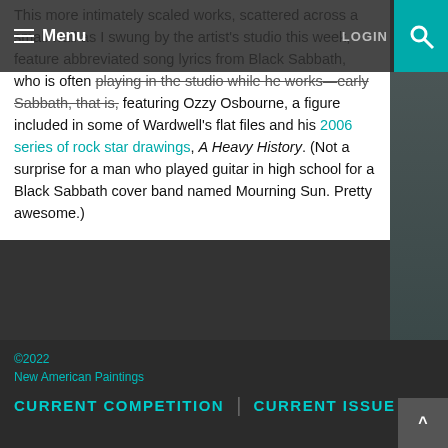Menu | LOGIN
This more intimately scaled works, scattered across a small wall as I swung by the artist's studio this week, feature abbreviated song lyrics from Black Sabbath, who is often playing in the studio while he works—early Sabbath, that is, featuring Ozzy Osbourne, a figure included in some of Wardwell's flat files and his 2006 series of rock star drawings, A Heavy History. (Not a surprise for a man who played guitar in high school for a Black Sabbath cover band named Mourning Sun. Pretty awesome.)
[Figure (photo): Broken image placeholder representing a photo in the article]
©2022 New American Paintings | CURRENT COMPETITION | CURRENT ISSUE